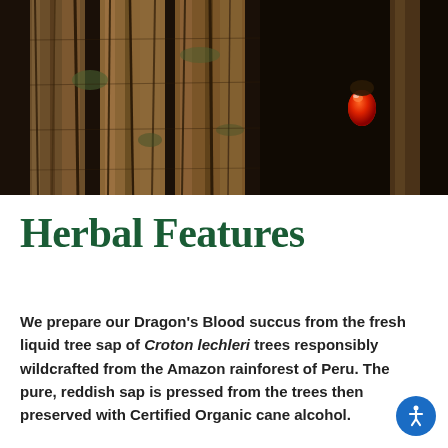[Figure (photo): Close-up photograph of dark tree bark with a bright red-orange droplet of sap (Dragon's Blood resin) visible on the right side against a dark background.]
Herbal Features
We prepare our Dragon's Blood succus from the fresh liquid tree sap of Croton lechleri trees responsibly wildcrafted from the Amazon rainforest of Peru. The pure, reddish sap is pressed from the trees then preserved with Certified Organic cane alcohol.